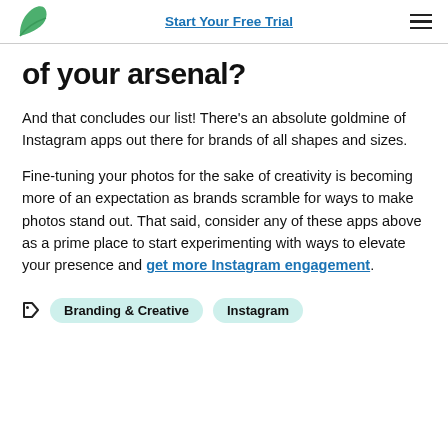Start Your Free Trial
of your arsenal?
And that concludes our list! There’s an absolute goldmine of Instagram apps out there for brands of all shapes and sizes.
Fine-tuning your photos for the sake of creativity is becoming more of an expectation as brands scramble for ways to make photos stand out. That said, consider any of these apps above as a prime place to start experimenting with ways to elevate your presence and get more Instagram engagement.
Branding & Creative
Instagram